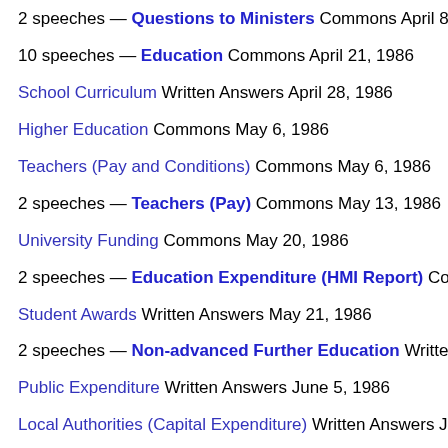2 speeches — Questions to Ministers Commons April 8, 198…
10 speeches — Education Commons April 21, 1986
School Curriculum Written Answers April 28, 1986
Higher Education Commons May 6, 1986
Teachers (Pay and Conditions) Commons May 6, 1986
2 speeches — Teachers (Pay) Commons May 13, 1986
University Funding Commons May 20, 1986
2 speeches — Education Expenditure (HMI Report) Commo…
Student Awards Written Answers May 21, 1986
2 speeches — Non-advanced Further Education Written Ans…
Public Expenditure Written Answers June 5, 1986
Local Authorities (Capital Expenditure) Written Answers June 5…